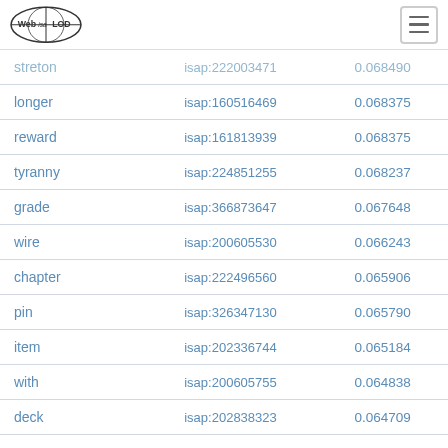Web isa LOD
| streton | isap:222003471 | 0.068490 |
| longer | isap:160516469 | 0.068375 |
| reward | isap:161813939 | 0.068375 |
| tyranny | isap:224851255 | 0.068237 |
| grade | isap:366873647 | 0.067648 |
| wire | isap:200605530 | 0.066243 |
| chapter | isap:222496560 | 0.065906 |
| pin | isap:326347130 | 0.065790 |
| item | isap:202336744 | 0.065184 |
| with | isap:200605755 | 0.064838 |
| deck | isap:202838323 | 0.064709 |